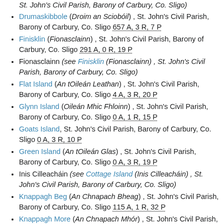St. John's Civil Parish, Barony of Carbury, Co. Sligo)
Drumaskibbole (Droim an Sciobóil) , St. John's Civil Parish, Barony of Carbury, Co. Sligo 657 A, 3 R, 7 P
Finisklin (Fionasclainn) , St. John's Civil Parish, Barony of Carbury, Co. Sligo 291 A, 0 R, 19 P
Fionasclainn (see Finisklin (Fionasclainn) , St. John's Civil Parish, Barony of Carbury, Co. Sligo)
Flat Island (An tOileán Leathan) , St. John's Civil Parish, Barony of Carbury, Co. Sligo 4 A, 3 R, 20 P
Glynn Island (Oileán Mhic Fhloinn) , St. John's Civil Parish, Barony of Carbury, Co. Sligo 0 A, 1 R, 15 P
Goats Island, St. John's Civil Parish, Barony of Carbury, Co. Sligo 0 A, 3 R, 10 P
Green Island (An tOileán Glas) , St. John's Civil Parish, Barony of Carbury, Co. Sligo 0 A, 3 R, 19 P
Inis Cilleacháin (see Cottage Island (Inis Cilleacháin) , St. John's Civil Parish, Barony of Carbury, Co. Sligo)
Knappagh Beg (An Chnapach Bheag) , St. John's Civil Parish, Barony of Carbury, Co. Sligo 115 A, 1 R, 32 P
Knappagh More (An Chnapach Mhór) , St. John's Civil Parish, Barony of Carbury, Co. Sligo 143 A, 0 R, 0 P
Knocknaganny (Cnoc na gCeannaithe) , St. John's Civil Parish, Barony of Carbury, Co. Sligo 109 A, 0 R, 4 P